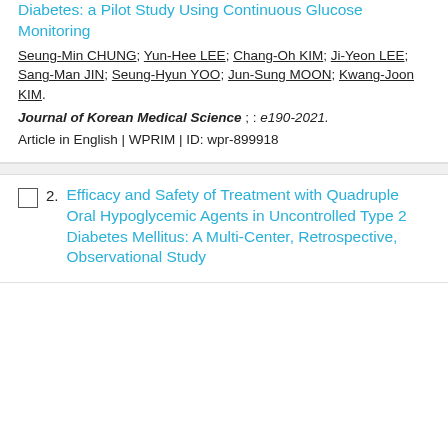Diabetes: a Pilot Study Using Continuous Glucose Monitoring
Seung-Min CHUNG; Yun-Hee LEE; Chang-Oh KIM; Ji-Yeon LEE; Sang-Man JIN; Seung-Hyun YOO; Jun-Sung MOON; Kwang-Joon KIM.
Journal of Korean Medical Science ; : e190-2021.
Article in English | WPRIM | ID: wpr-899918
Efficacy and Safety of Treatment with Quadruple Oral Hypoglycemic Agents in Uncontrolled Type 2 Diabetes Mellitus: A Multi-Center, Retrospective, Observational Study